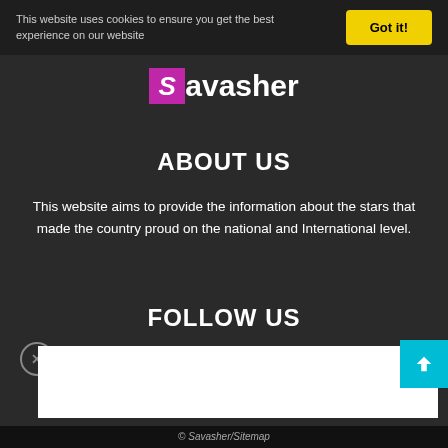This website uses cookies to ensure you get the best experience on our website
[Figure (logo): Savasher logo with magenta S box and white text]
ABOUT US
This website aims to provide the information about the stars that made the country proud on the national and International level.
FOLLOW US
[Figure (infographic): Social media icons: Facebook, Pinterest, Twitter in bordered square boxes]
© Savasher/Sitemap